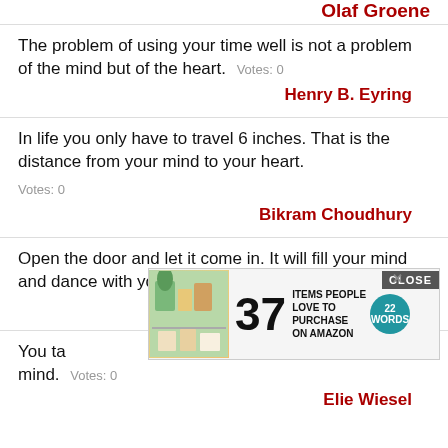Olaf Groene (cropped/partial)
The problem of using your time well is not a problem of the mind but of the heart.
Henry B. Eyring
In life you only have to travel 6 inches. That is the distance from your mind to your heart.
Bikram Choudhury
Open the door and let it come in. It will fill your mind and dance with your heart.
Debashis Mridha (partial)
You ta... all your heart and all your mind.
Elie Wiesel (partial)
[Figure (other): Advertisement overlay: 37 Items People Love to Purchase on Amazon, with a close button, product images, and 22Words badge]